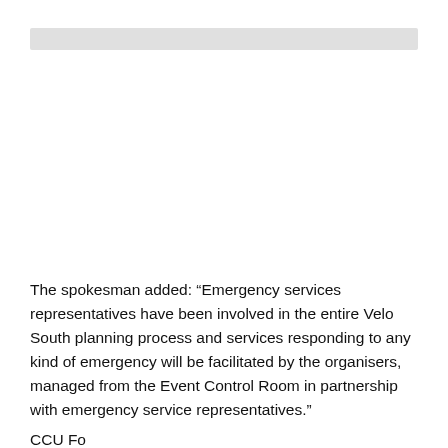The spokesman added: “Emergency services representatives have been involved in the entire Velo South planning process and services responding to any kind of emergency will be facilitated by the organisers, managed from the Event Control Room in partnership with emergency service representatives.”
CCU Fo...